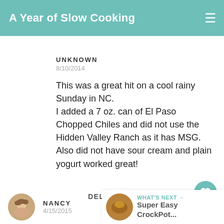A Year of Slow Cooking
UNKNOWN
8/10/2014
This was a great hit on a cool rainy Sunday in NC.
I added a 7 oz. can of El Paso Chopped Chiles and did not use the Hidden Valley Ranch as it has MSG. Also did not have sour cream and plain yogurt worked great!
DELETE
NANCY
4/15/2015
WHAT'S NEXT → Super Easy CrockPot...